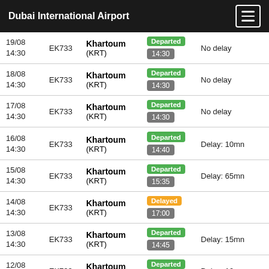Dubai International Airport
| Date/Time | Flight | Destination | Status | Delay |
| --- | --- | --- | --- | --- |
| 19/08
14:30 | EK733 | Khartoum (KRT) | Departed
14:30 | No delay |
| 18/08
14:30 | EK733 | Khartoum (KRT) | Departed
14:30 | No delay |
| 17/08
14:30 | EK733 | Khartoum (KRT) | Departed
14:30 | No delay |
| 16/08
14:30 | EK733 | Khartoum (KRT) | Departed
14:40 | Delay: 10mn |
| 15/08
14:30 | EK733 | Khartoum (KRT) | Departed
15:35 | Delay: 65mn |
| 14/08
14:30 | EK733 | Khartoum (KRT) | Delayed
17:00 |  |
| 13/08
14:30 | EK733 | Khartoum (KRT) | Departed
14:45 | Delay: 15mn |
| 12/08
14:30 | EK733 | Khartoum (KRT) | Departed
14:40 | Delay: 10mn |
| 11/08
14:30 | EK733 | Khartoum (KRT) | Departed
... |  |